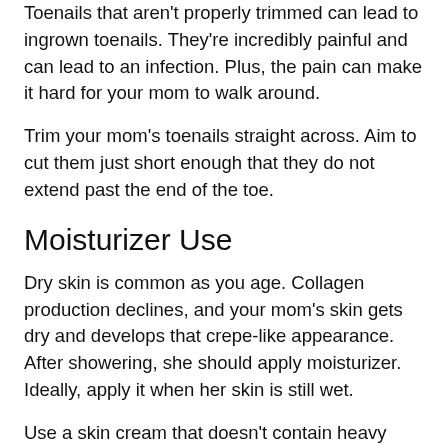Toenails that aren't properly trimmed can lead to ingrown toenails. They're incredibly painful and can lead to an infection. Plus, the pain can make it hard for your mom to walk around.
Trim your mom's toenails straight across. Aim to cut them just short enough that they do not extend past the end of the toe.
Moisturizer Use
Dry skin is common as you age. Collagen production declines, and your mom's skin gets dry and develops that crepe-like appearance. After showering, she should apply moisturizer. Ideally, apply it when her skin is still wet.
Use a skin cream that doesn't contain heavy fragrances or chemical ingredients. Look for a paraben-free, sulfate-free option that contains coconut oil, shea butter, or almond oil to provide the moisture her skin needs.
Does your mom want you to provide personal care or